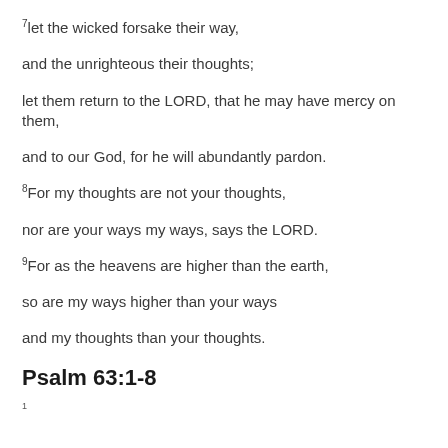7let the wicked forsake their way,
and the unrighteous their thoughts;
let them return to the LORD, that he may have mercy on them,
and to our God, for he will abundantly pardon.
8For my thoughts are not your thoughts,
nor are your ways my ways, says the LORD.
9For as the heavens are higher than the earth,
so are my ways higher than your ways
and my thoughts than your thoughts.
Psalm 63:1-8
1